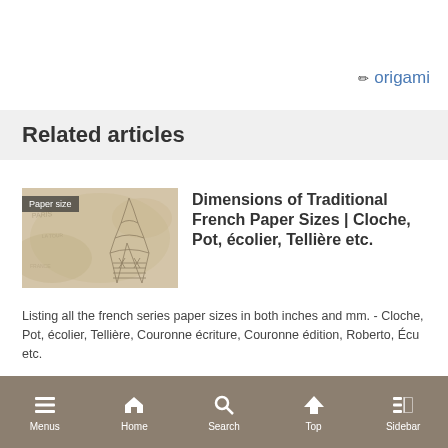✏ origami
Related articles
[Figure (photo): Thumbnail image showing a sketch of the Eiffel Tower on aged paper with a 'Paper size' badge overlay]
Dimensions of Traditional French Paper Sizes | Cloche, Pot, écolier, Tellière etc.
Listing all the french series paper sizes in both inches and mm. - Cloche, Pot, écolier, Tellière, Couronne écriture, Couronne édition, Roberto, Écu etc.
Menus  Home  Search  Top  Sidebar